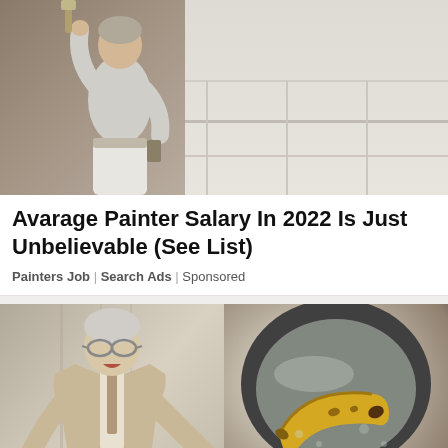[Figure (photo): A painter in white work clothes seen from behind, painting a wall with a roller brush. Wooden paneling and hallway visible.]
Avarage Painter Salary In 2022 Is Just Unbelievable (See List)
Painters Job | Search Ads | Sponsored
[Figure (photo): Left half: older white-haired man in suit and glasses pointing to something off-frame, standing in a hallway. Right half: a banana in a frying pan with water or oil, with a small trash/delete icon overlay in the bottom right corner.]